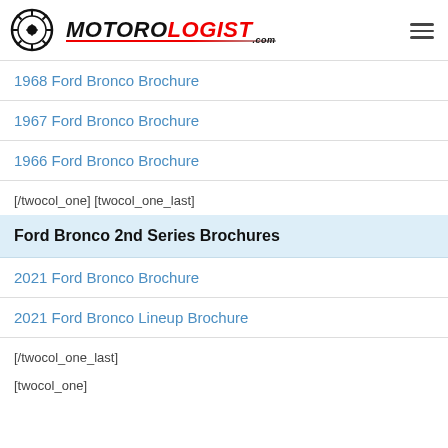MOTOROLOGIST.com
1968 Ford Bronco Brochure
1967 Ford Bronco Brochure
1966 Ford Bronco Brochure
[/twocol_one] [twocol_one_last]
Ford Bronco 2nd Series Brochures
2021 Ford Bronco Brochure
2021 Ford Bronco Lineup Brochure
[/twocol_one_last]
[twocol_one]